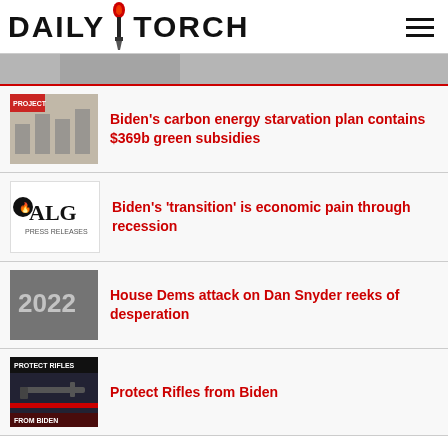DAILY TORCH
[Figure (photo): Partial banner image strip]
Biden’s carbon energy starvation plan contains $369b green subsidies
Biden’s ‘transition’ is economic pain through recession
House Dems attack on Dan Snyder reeks of desperation
Protect Rifles from Biden